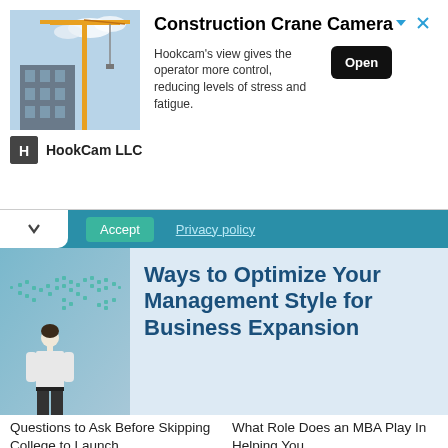[Figure (photo): Ad banner with construction crane image, HookCam LLC logo. Title: Construction Crane Camera. Description: Hookcam's view gives the operator more control, reducing levels of stress and fatigue. Button: Open.]
Accept   Privacy policy
ways to Optimize Your Management Style for Business Expansion
[Figure (photo): Person standing in front of a world map display, viewed from behind, business/global concept.]
Questions to Ask Before Skipping College to Launch
What Role Does an MBA Play In Helping You